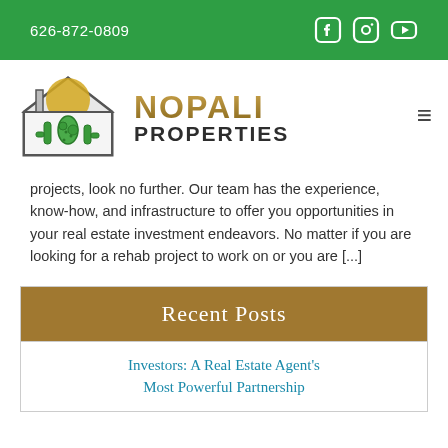626-872-0809
[Figure (logo): Nopali Properties logo with cactus house illustration and text NOPALI PROPERTIES]
projects, look no further. Our team has the experience, know-how, and infrastructure to offer you opportunities in your real estate investment endeavors. No matter if you are looking for a rehab project to work on or you are [...]
Recent Posts
Investors: A Real Estate Agent's Most Powerful Partnership